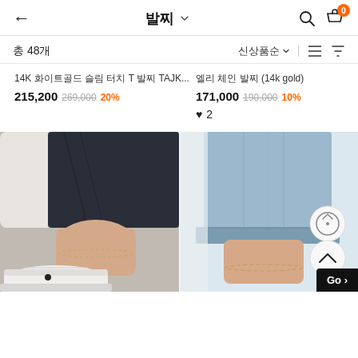발찌
총 48개
신상품순
14K 화이트골드 슬림 터치 T 발찌 TAJK...
215,200 269,000 20%
엘리 체인 발찌 (14k gold)
171,000 190,000 10%
♥ 2
[Figure (photo): Left: Close-up photo of an ankle wearing a delicate gold chain anklet, with white sneakers and dark jeans. Right: Close-up photo of an ankle wearing a thin chain anklet, with light blue jeans.]